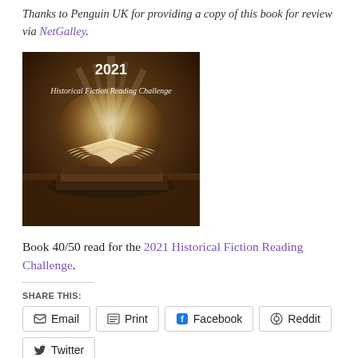Thanks to Penguin UK for providing a copy of this book for review via NetGalley.
[Figure (photo): 2021 Historical Fiction Reading Challenge banner image showing an open book with glowing light emanating from pages, stacked on old books on a wooden surface. White text reads '2021 Historical Fiction Reading Challenge'.]
Book 40/50 read for the 2021 Historical Fiction Reading Challenge.
SHARE THIS:
Email
Print
Facebook
Reddit
Twitter